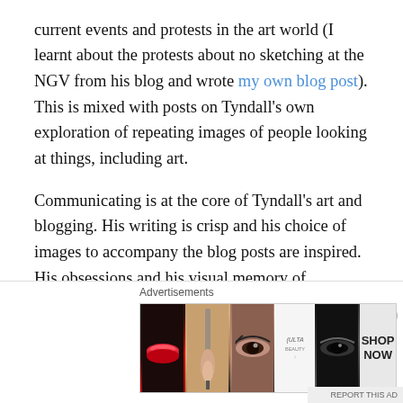current events and protests in the art world (I learnt about the protests about no sketching at the NGV from his blog and wrote my own blog post). This is mixed with posts on Tyndall's own exploration of repeating images of people looking at things, including art.
Communicating is at the core of Tyndall's art and blogging. His writing is crisp and his choice of images to accompany the blog posts are inspired. His obsessions and his visual memory of interconnected images are perfect to display on the internet. As he explained in an email: “In daily practice, I observe that my present inclination is less to the slow and expensive means of the easel and more to the immediate, inexpensive and intuitive exploration via the
Advertisements
[Figure (other): Advertisement banner for ULTA beauty with cosmetic images (lips, makeup brush, eye), ULTA logo, another eye close-up, and SHOP NOW button]